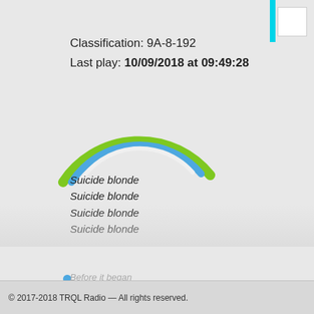Classification: 9A-8-192
Last play: 10/09/2018 at 09:49:28
[Figure (illustration): Partial circular arc with green outer ring and blue inner ring, resembling a gauge or dial, partially visible on the left side of the content area.]
Suicide blonde
Suicide blonde
Suicide blonde
Suicide blonde
Suicide blonde
Was the colour of her hair
Like a cheap distraction
For a new affair
She knew it would finish
© 2017-2018 TRQL Radio — All rights reserved.